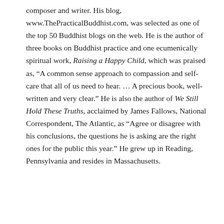composer and writer. His blog, www.ThePracticalBuddhist.com, was selected as one of the top 50 Buddhist blogs on the web. He is the author of three books on Buddhist practice and one ecumenically spiritual work, Raising a Happy Child, which was praised as, “A common sense approach to compassion and self-care that all of us need to hear. … A precious book, well-written and very clear.” He is also the author of We Still Hold These Truths, acclaimed by James Fallows, National Correspondent, The Atlantic, as “Agree or disagree with his conclusions, the questions he is asking are the right ones for the public this year.” He grew up in Reading, Pennsylvania and resides in Massachusetts.